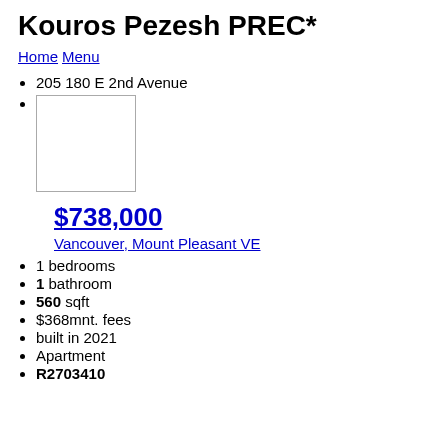Kouros Pezesh PREC*
Home Menu
205 180 E 2nd Avenue
[Figure (photo): Property photo placeholder image with border]
$738,000
Vancouver, Mount Pleasant VE
1 bedrooms
1 bathroom
560 sqft
$368mnt. fees
built in 2021
Apartment
R2703410